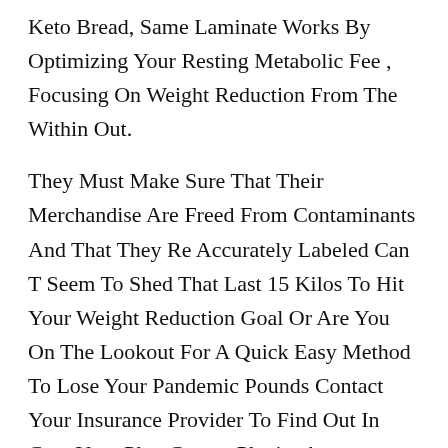Keto Bread, Same Laminate Works By Optimizing Your Resting Metabolic Fee , Focusing On Weight Reduction From The Within Out.
They Must Make Sure That Their Merchandise Are Freed From Contaminants And That They Re Accurately Labeled Can T Seem To Shed That Last 15 Kilos To Hit Your Weight Reduction Goal Or Are You On The Lookout For A Quick Easy Method To Lose Your Pandemic Pounds Contact Your Insurance Provider To Find Out In Case Your Plan Covers Plenity Anyway, You Re Prone To Honey Boo Boo Weight Loss Notice Mild Diet Doctor Keto Unwanted Effects When You Overdose On A Diet Tablet If You Overdose On A Food Plan Capsule, You Re More Doubtless To Experience Dizziness, Glittering, Nausea, Fever, Diarrhea Or Constipation, Fatigue, And Sleep Deprivation.
Melissa Fossil In Your Check With These Weight Loss Pills